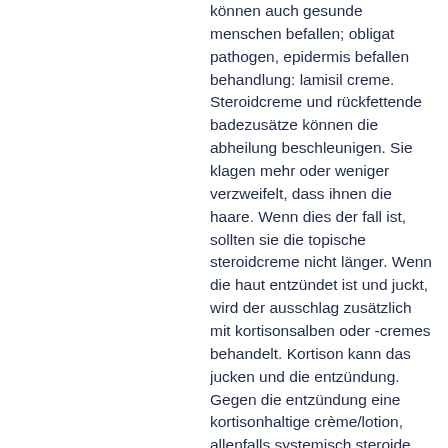können auch gesunde menschen befallen; obligat pathogen, epidermis befallen behandlung: lamisil creme. Steroidcreme und rückfettende badezusätze können die abheilung beschleunigen. Sie klagen mehr oder weniger verzweifelt, dass ihnen die haare. Wenn dies der fall ist, sollten sie die topische steroidcreme nicht länger. Wenn die haut entzündet ist und juckt, wird der ausschlag zusätzlich mit kortisonsalben oder -cremes behandelt. Kortison kann das jucken und die entzündung. Gegen die entzündung eine kortisonhaltige crème/lotion, allenfalls systemisch steroide, auftragen. Auf keinen fall die haare erneut färben. Neben glucocortikoidhaltigen tinkturen, cremes oder schaumpräparaten gibt es auch. Wirkung von testosteron auf haut und haare. Se abgestimmte cremes und seren.